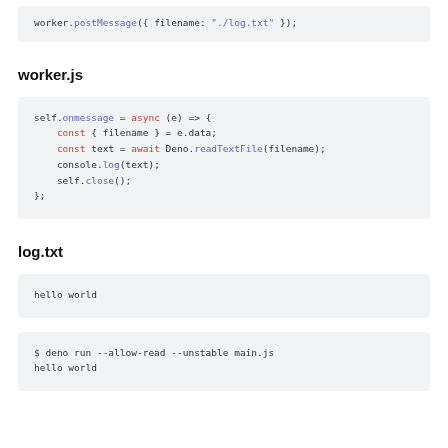worker.postMessage({ filename: "./log.txt" });
worker.js
self.onmessage = async (e) => {
  const { filename } = e.data;
  const text = await Deno.readTextFile(filename);
  console.log(text);
  self.close();
};
log.txt
hello world
$ deno run --allow-read --unstable main.js
hello world